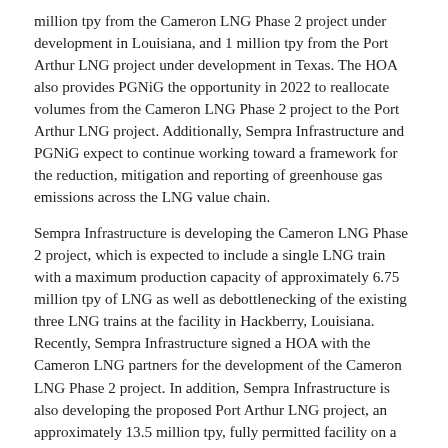million tpy from the Cameron LNG Phase 2 project under development in Louisiana, and 1 million tpy from the Port Arthur LNG project under development in Texas. The HOA also provides PGNiG the opportunity in 2022 to reallocate volumes from the Cameron LNG Phase 2 project to the Port Arthur LNG project. Additionally, Sempra Infrastructure and PGNiG expect to continue working toward a framework for the reduction, mitigation and reporting of greenhouse gas emissions across the LNG value chain.
Sempra Infrastructure is developing the Cameron LNG Phase 2 project, which is expected to include a single LNG train with a maximum production capacity of approximately 6.75 million tpy of LNG as well as debottlenecking of the existing three LNG trains at the facility in Hackberry, Louisiana. Recently, Sempra Infrastructure signed a HOA with the Cameron LNG partners for the development of the Cameron LNG Phase 2 project. In addition, Sempra Infrastructure is also developing the proposed Port Arthur LNG project, an approximately 13.5 million tpy, fully permitted facility on a 3000-acre site in Jefferson County, Texas.
The HOA is a preliminary, non-binding arrangement, and the development of the Cameron LNG Phase 2 and Port Arthur LNG projects remains subject to a number of risks and uncertainties, including reaching definitive agreements, securing all necessary